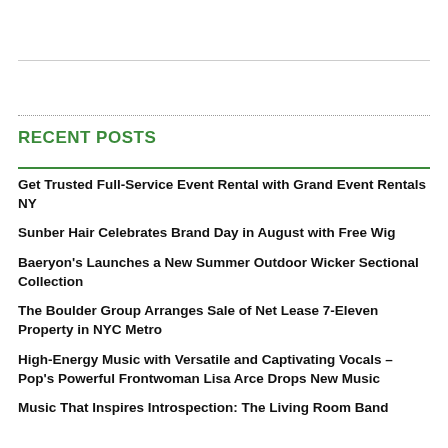RECENT POSTS
Get Trusted Full-Service Event Rental with Grand Event Rentals NY
Sunber Hair Celebrates Brand Day in August with Free Wig
Baeryon's Launches a New Summer Outdoor Wicker Sectional Collection
The Boulder Group Arranges Sale of Net Lease 7-Eleven Property in NYC Metro
High-Energy Music with Versatile and Captivating Vocals – Pop's Powerful Frontwoman Lisa Arce Drops New Music
Music That Inspires Introspection: The Living Room Band